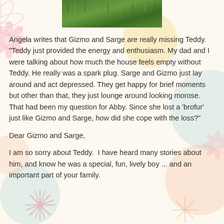[Figure (photo): Partial photo of green grass/outdoor scene at top center of page]
Angela writes that Gizmo and Sarge are really missing Teddy.  "Teddy just provided the energy and enthusiasm. My dad and I were talking about how much the house feels empty without Teddy. He really was a spark plug. Sarge and Gizmo just lay around and act depressed. They get happy for brief moments but other than that, they just lounge around looking morose. That had been my question for Abby. Since she lost a 'brofur' just like Gizmo and Sarge, how did she cope with the loss?"
Dear Gizmo and Sarge,
I am so sorry about Teddy.  I have heard many stories about him, and know he was a special, fun, lively boy ... and an important part of your family.